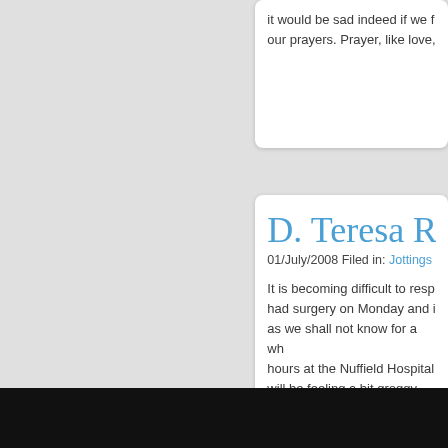it would be sad indeed if we f our prayers. Prayer, like love,
D. Teresa Ro
01/July/2008 Filed in: Jottings
It is becoming difficult to resp had surgery on Monday and i as we shall not know for a wh hours at the Nuffield Hospital will be feeling a bit groggy too If there is any alteration to thi recording. Howzat for the pos maddening, depending on on